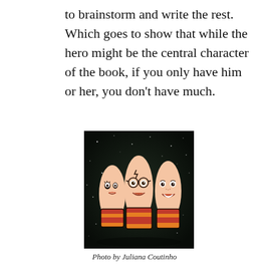to brainstorm and write the rest. Which goes to show that while the hero might be the central character of the book, if you only have him or her, you don't have much.
[Figure (photo): Three finger puppets with drawn-on faces wearing colorful scarves, set against a dark snowy background, resembling Harry Potter characters.]
Photo by Juliana Coutinho